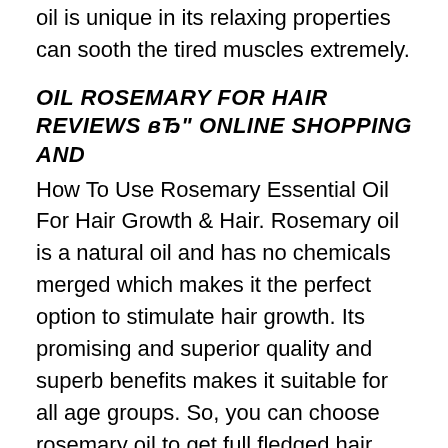oil is unique in its relaxing properties can sooth the tired muscles extremely.
OIL ROSEMARY FOR HAIR REVIEWS вЂ" ONLINE SHOPPING AND
How To Use Rosemary Essential Oil For Hair Growth & Hair. Rosemary oil is a natural oil and has no chemicals merged which makes it the perfect option to stimulate hair growth. Its promising and superior quality and superb benefits makes it suitable for all age groups. So, you can choose rosemary oil to get full fledged hair growth, refreshing, high volume and soothing effects in your hair., Does rosemary oil really promote hair growth? Is there any scientific fact behind it? How does it work and how to use it for hair growth? Is there any best